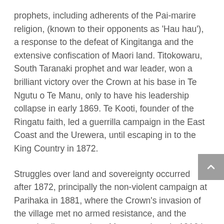prophets, including adherents of the Pai-marire religion, (known to their opponents as 'Hau hau'), a response to the defeat of Kingitanga and the extensive confiscation of Maori land. Titokowaru, South Taranaki prophet and war leader, won a brilliant victory over the Crown at his base in Te Ngutu o Te Manu, only to have his leadership collapse in early 1869. Te Kooti, founder of the Ringatu faith, led a guerrilla campaign in the East Coast and the Urewera, until escaping in to the King Country in 1872.
Struggles over land and sovereignty occurred after 1872, principally the non-violent campaign at Parihaka in 1881, where the Crown's invasion of the village met no armed resistance, and the armed police assault on Maungapohatu in 1916 in which two Tuhoe were killed. The legacy of bitterness over land confiscation resulting from the wars continues to this day.
The sites that DOC manages under this theme are: